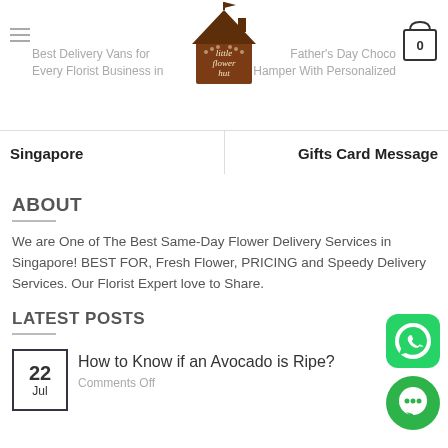Best Delivery Vans for Every Florist Business in Singapore | Father's Day Chocolate Hamper With Personalized Gifts Card Message
Singapore
Gifts Card Message
ABOUT
We are One of The Best Same-Day Flower Delivery Services in Singapore!  BEST FOR, Fresh Flower, PRICING and Speedy Delivery Services. Our Florist Expert love to Share.
LATEST POSTS
22 Jul — How to Know if an Avocado is Ripe? Comments Off